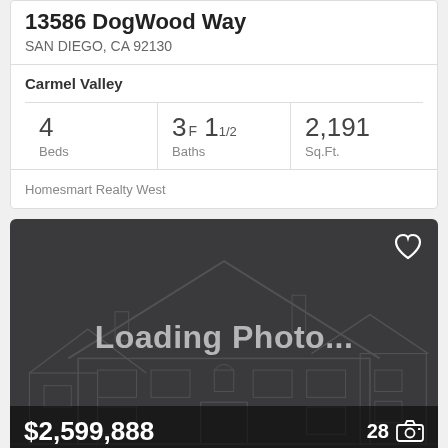13586 DogWood Way
SAN DIEGO, CA 92130
Carmel Valley
| Beds | Baths | Sq.Ft. |
| --- | --- | --- |
| 4 | 3F 11/2 | 2,191 |
Homesmart Realty West
[Figure (photo): Loading Photo... placeholder image with wireframe house outline on dark background, price $2,599,888, 28 photos indicator, heart/favorite icon]
$2,599,888
28